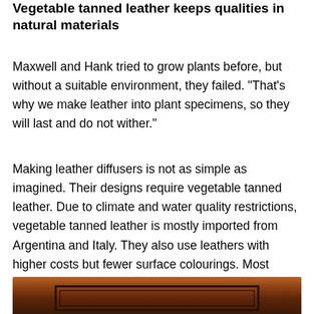Vegetable tanned leather keeps qualities in natural materials
Maxwell and Hank tried to grow plants before, but without a suitable environment, they failed. “That's why we make leather into plant specimens, so they will last and do not wither.”
Making leather diffusers is not as simple as imagined. Their designs require vegetable tanned leather. Due to climate and water quality restrictions, vegetable tanned leather is mostly imported from Argentina and Italy. They also use leathers with higher costs but fewer surface colourings. Most scents in the market are based on alcohol, but alcohol often decolours leather. As a result, Maxwell and Hank develop proprietary scents for their products.
[Figure (photo): Partial image of a wooden leather box or tray with dark interior inset panels, showing warm brown wood tones.]